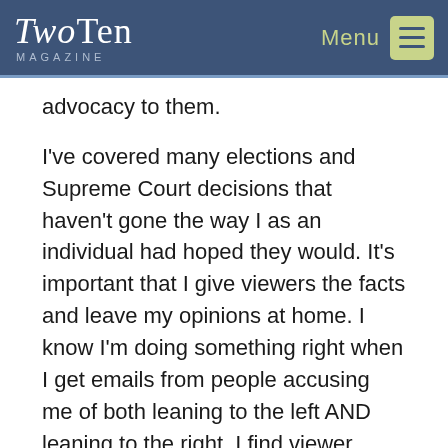TwoTen Magazine
advocacy to them.
I've covered many elections and Supreme Court decisions that haven't gone the way I as an individual had hoped they would. It's important that I give viewers the facts and leave my opinions at home. I know I'm doing something right when I get emails from people accusing me of both leaning to the left AND leaning to the right. I find viewer reactions like that have much more to do with their own perceptions and biases.